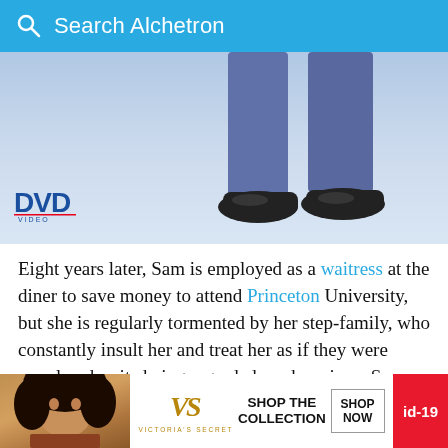Search Alchetron
[Figure (photo): Lower legs and feet of a person wearing blue jeans and dark shoes, standing against a white/light blue background. DVD Video logo visible in lower left corner.]
Eight years later, Sam is employed as a waitress at the diner to save money to attend Princeton University, but she is regularly tormented by her step-family, who constantly insult her and treat her as if they were popular, despite being regarded as obnoxious. Sam struggles to cope socially at North Valley High School, where queen bee cheerleader Shelb... "Diner...
[Figure (photo): Victoria's Secret advertisement banner showing a woman with curly hair, VS logo, 'SHOP THE COLLECTION' text, 'SHOP NOW' button, and 'id-19' label in red.]